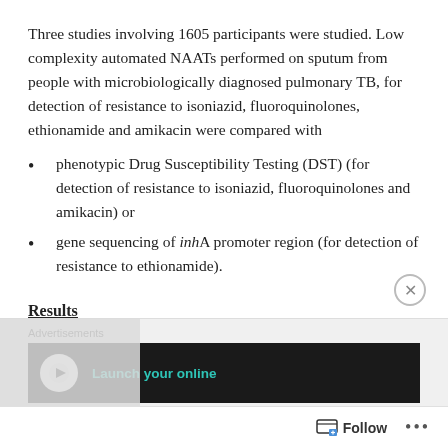Three studies involving 1605 participants were studied. Low complexity automated NAATs performed on sputum from people with microbiologically diagnosed pulmonary TB, for detection of resistance to isoniazid, fluoroquinolones, ethionamide and amikacin were compared with
phenotypic Drug Susceptibility Testing (DST) (for detection of resistance to isoniazid, fluoroquinolones and amikacin) or
gene sequencing of inhA promoter region (for detection of resistance to ethionamide).
Results